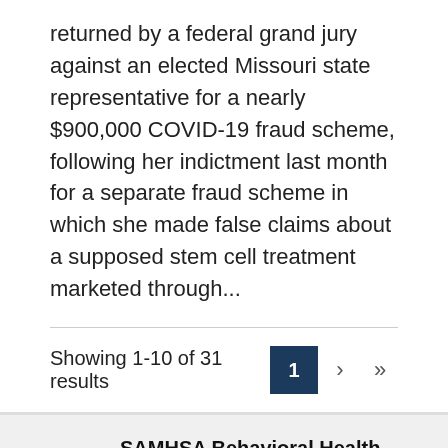returned by a federal grand jury against an elected Missouri state representative for a nearly $900,000 COVID-19 fraud scheme, following her indictment last month for a separate fraud scheme in which she made false claims about a supposed stem cell treatment marketed through...
Showing 1-10 of 31 results
SAMHSA Behavioral Health Treatment Locator
Address, city, state or zip code
Go